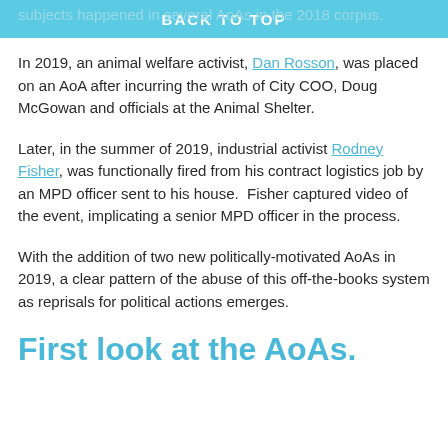BACK TO TOP
subjects happened in several AoAs in the 2018 corpus.
In 2019, an animal welfare activist, Dan Rosson, was placed on an AoA after incurring the wrath of City COO, Doug McGowan and officials at the Animal Shelter.
Later, in the summer of 2019, industrial activist Rodney Fisher, was functionally fired from his contract logistics job by an MPD officer sent to his house.  Fisher captured video of the event, implicating a senior MPD officer in the process.
With the addition of two new politically-motivated AoAs in 2019, a clear pattern of the abuse of this off-the-books system as reprisals for political actions emerges.
First look at the AoAs.